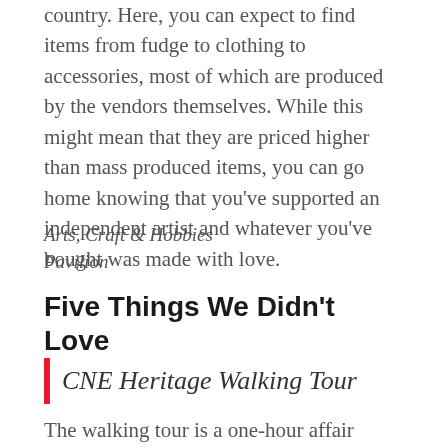country. Here, you can expect to find items from fudge to clothing to accessories, most of which are produced by the vendors themselves. While this might mean that they are priced higher than mass produced items, you can go home knowing that you've supported an independent artist and whatever you've bought was made with love.
Arts, Craft & Hobbies Pavilion
Five Things We Didn't Love
CNE Heritage Walking Tour
The walking tour is a one-hour affair where we followed a guide around the grounds of the CNE as he recounts